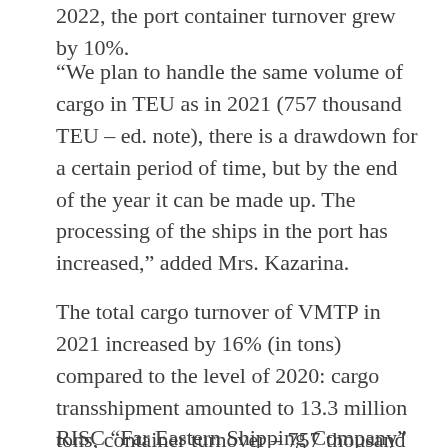2022, the port container turnover grew by 10%.
“We plan to handle the same volume of cargo in TEU as in 2021 (757 thousand TEU – ed. note), there is a drawdown for a certain period of time, but by the end of the year it can be made up. The processing of the ships in the port has increased,” added Mrs. Kazarina.
The total cargo turnover of VMTP in 2021 increased by 16% (in tons) compared to the level of 2020: cargo transshipment amounted to 13.3 million tons, container turnover – 757 thousand TEU (+13%).
RISC “Far Eastern Shipping Company” in the port